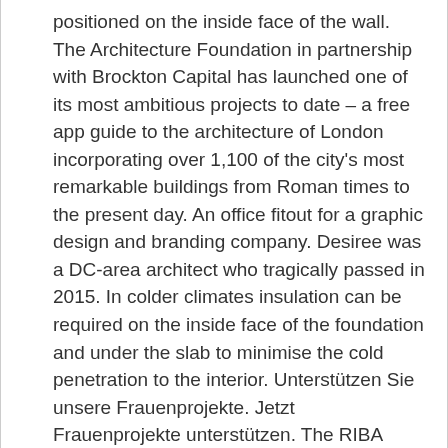positioned on the inside face of the wall. The Architecture Foundation in partnership with Brockton Capital has launched one of its most ambitious projects to date – a free app guide to the architecture of London incorporating over 1,100 of the city's most remarkable buildings from Roman times to the present day. An office fitout for a graphic design and branding company. Desiree was a DC-area architect who tragically passed in 2015. In colder climates insulation can be required on the inside face of the foundation and under the slab to minimise the cold penetration to the interior. Unterstützen Sie unsere Frauenprojekte. Jetzt Frauenprojekte unterstützen. The RIBA Foundation in Architecture course is designed to develop your skills in creative and conceptual thinking for architects and help you build a portfolio of work that will enable you to pursue further education in architecture and...